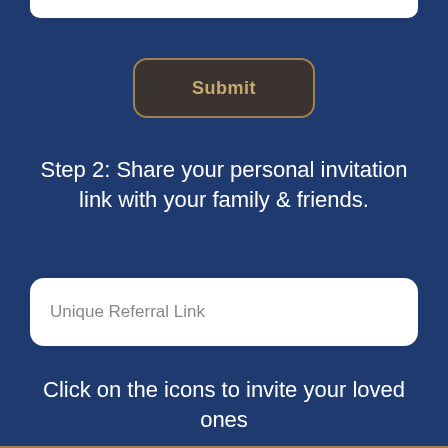[Figure (other): White input field (top portion cut off, only bottom visible)]
Submit
Step 2: Share your personal invitation link with your family & friends.
Unique Referral Link
Click on the icons to invite your loved ones